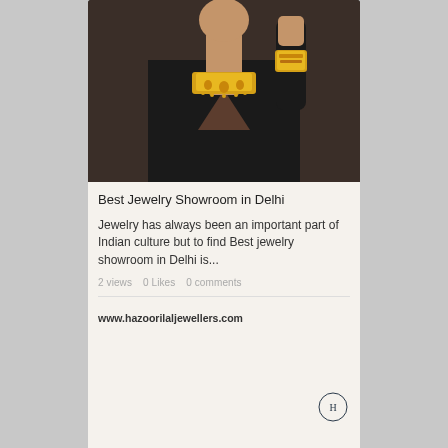[Figure (photo): Woman wearing gold Indian jewelry — large ornate necklace and gold bracelet/cuff, dressed in black top, photographed against a warm brown background]
Best Jewelry Showroom in Delhi
Jewelry has always been an important part of Indian culture but to find Best jewelry showroom in Delhi is...
2 views   0 Likes   0 comments
www.hazoorilaljewellers.com
[Figure (logo): Circular logo with letter H inside, belonging to Hazoorilal Jewellers]